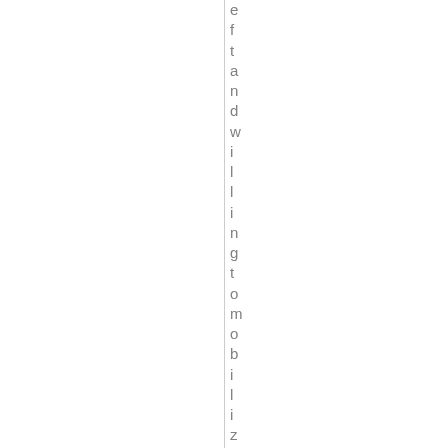eft and willing to mobilize the